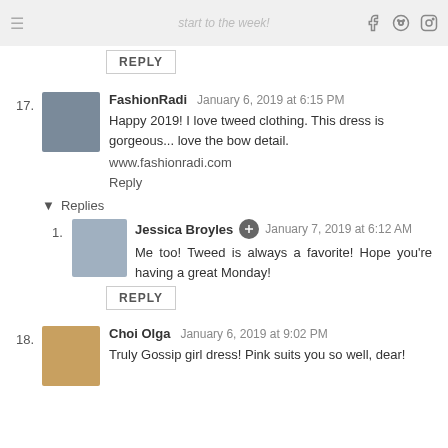start to the week!
REPLY
17. FashionRadi  January 6, 2019 at 6:15 PM
Happy 2019! I love tweed clothing. This dress is gorgeous... love the bow detail.
www.fashionradi.com
Reply
▼ Replies
1. Jessica Broyles  January 7, 2019 at 6:12 AM
Me too! Tweed is always a favorite! Hope you're having a great Monday!
REPLY
18. Choi Olga  January 6, 2019 at 9:02 PM
Truly Gossip girl dress! Pink suits you so well, dear!